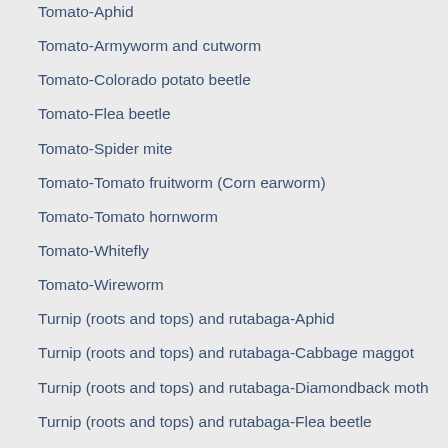Tomato-Aphid
Tomato-Armyworm and cutworm
Tomato-Colorado potato beetle
Tomato-Flea beetle
Tomato-Spider mite
Tomato-Tomato fruitworm (Corn earworm)
Tomato-Tomato hornworm
Tomato-Whitefly
Tomato-Wireworm
Turnip (roots and tops) and rutabaga-Aphid
Turnip (roots and tops) and rutabaga-Cabbage maggot
Turnip (roots and tops) and rutabaga-Diamondback moth
Turnip (roots and tops) and rutabaga-Flea beetle